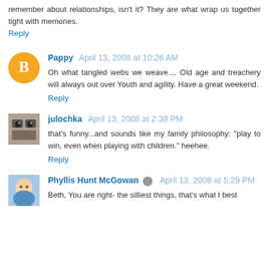remember about relationships, isn't it? They are what wrap us together tight with memories.
Reply
Pappy April 13, 2008 at 10:26 AM
Oh what tangled webs we weave.... Old age and treachery will always out over Youth and agility. Have a great weekend.
Reply
julochka April 13, 2008 at 2:38 PM
that's funny...and sounds like my family philosophy: "play to win, even when playing with children." heehee.
Reply
Phyllis Hunt McGowan April 13, 2008 at 5:29 PM
Beth, You are right- the silliest things, that's what I best